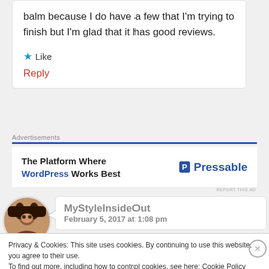balm because I do have a few that I'm trying to finish but I'm glad that it has good reviews.
★ Like
Reply
Advertisements
[Figure (screenshot): Pressable advertisement: 'The Platform Where WordPress Works Best' with Pressable logo]
REPORT THIS AD
MyStyleInsideOut
February 5, 2017 at 1:08 pm
Privacy & Cookies: This site uses cookies. By continuing to use this website, you agree to their use.
To find out more, including how to control cookies, see here: Cookie Policy
Close and accept
REPORT THIS AD